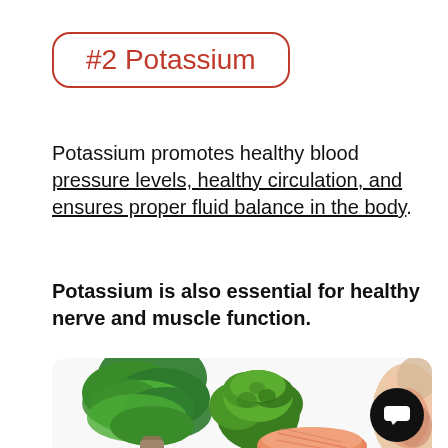#2 Potassium
Potassium promotes healthy blood pressure levels, healthy circulation, and ensures proper fluid balance in the body.
Potassium is also essential for healthy nerve and muscle function.
[Figure (photo): Photo of potassium-rich foods: spinach, broccoli, salmon fillet, and meat on a white background with rounded corners]